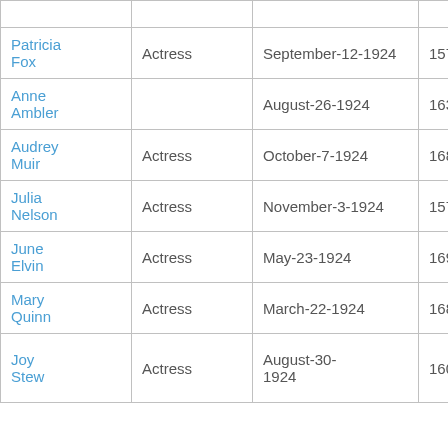| Name | Profession | Date | Number |
| --- | --- | --- | --- |
| Patricia Fox | Actress | September-12-1924 | 157 |
| Anne Ambler |  | August-26-1924 | 163 |
| Audrey Muir | Actress | October-7-1924 | 168 |
| Julia Nelson | Actress | November-3-1924 | 157 |
| June Elvin | Actress | May-23-1924 | 169 |
| Mary Quinn | Actress | March-22-1924 | 168 |
| Joy Stewart | Actress | August-30-1924 | 160 |